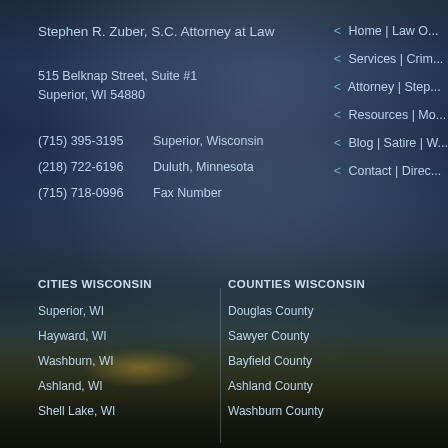Stephen R. Zuber, S.C. Attorney at Law
515 Belknap Street, Suite #1
Superior, WI 54880
(715) 395-3195   Superior, Wisconsin
(218) 722-6196   Duluth, Minnesota
(715) 718-0996   Fax Number
< Home | Law O...
< Services | Crim...
< Attorney | Step...
< Resources | Mo...
< Blog | Satire | W...
< Contact | Direc...
CITIES WISCONSIN
COUNTIES WISCONSIN
Superior, WI
Douglas County
Hayward, WI
Sawyer County
Washburn, WI
Bayfield County
Ashland, WI
Ashland County
Shell Lake, WI
Washburn County